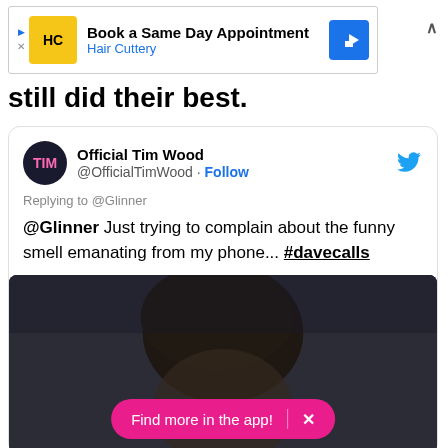[Figure (screenshot): Advertisement banner for Hair Cuttery: 'Book a Same Day Appointment' with HC logo and navigation arrow icon]
still did their best.
[Figure (screenshot): Tweet from @OfficialTimWood replying to @Glinner: '@Glinner Just trying to complain about the funny smell emanating from my phone... #davecalls' with a photo showing top of a person's head and a pink 'Find more in the app!' banner overlay]